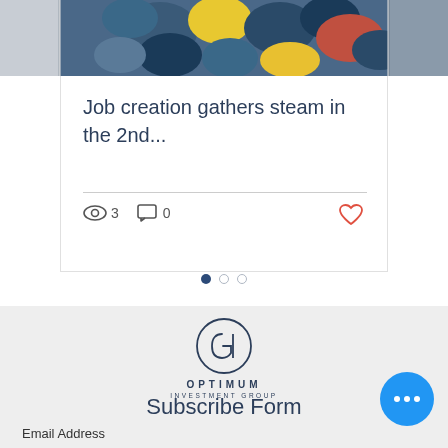[Figure (photo): Construction hard hats/helmets in various colors (blue, yellow, red, white) viewed from above, partial view at top of page]
Job creation gathers steam in the 2nd...
👁 3   💬 0   ♥
[Figure (other): Pagination dots: one filled dark blue dot and two empty/outline dots]
[Figure (logo): Optimum Investment Group circular logo with G and I letters inside a circle]
Subscribe Form
Email Address
[Figure (other): Blue circular FAB button with three white dots (ellipsis)]